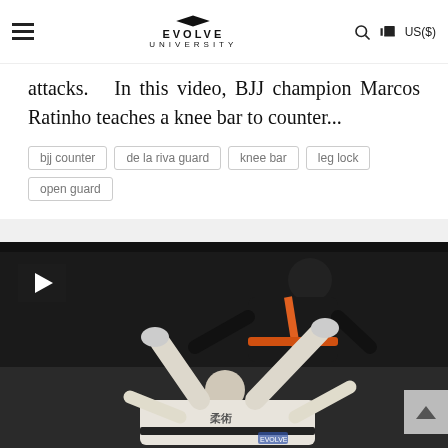Evolve University
attacks. In this video, BJJ champion Marcos Ratinho teaches a knee bar to counter...
bjj counter
de la riva guard
knee bar
leg lock
open guard
[Figure (photo): BJJ practitioners in black and white gis demonstrating a knee bar technique on a mat. Play button overlay visible in upper left. Scroll-up button in lower right.]